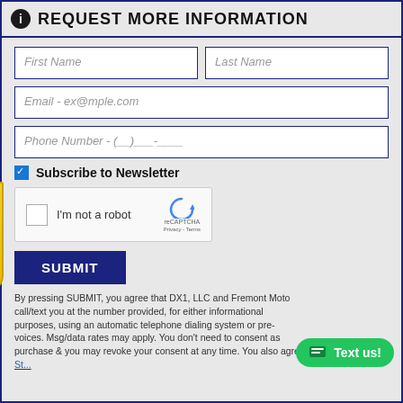REQUEST MORE INFORMATION
First Name
Last Name
Email - ex@mple.com
Phone Number - (__)___-____
Subscribe to Newsletter
I'm not a robot reCAPTCHA Privacy - Terms
SUBMIT
By pressing SUBMIT, you agree that DX1, LLC and Fremont Motorsports may call/text you at the number provided, for either informational or marketing purposes, using an automatic telephone dialing system or pre-recorded/artificial voices. Msg/data rates may apply. You don't need to consent as a condition of any purchase & you may revoke your consent at any time. You also agree to our Privacy Statement & Terms of Use.